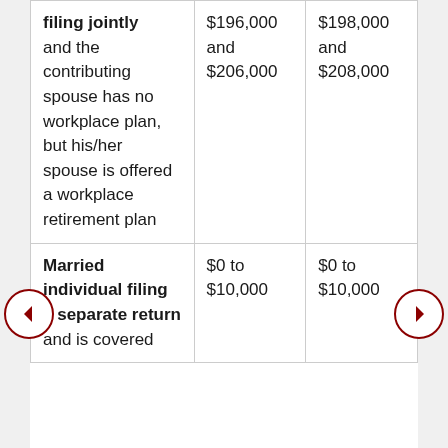| filing jointly and the contributing spouse has no workplace plan, but his/her spouse is offered a workplace retirement plan | $196,000 and $206,000 | $198,000 and $208,000 |
| Married individual filing a separate return and is covered | $0 to $10,000 | $0 to $10,000 |